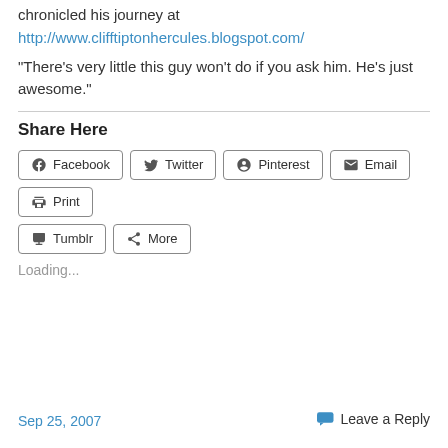chronicled his journey at
http://www.clifftiptonhercules.blogspot.com/
“There’s very little this guy won’t do if you ask him. He’s just awesome.”
Share Here
Facebook  Twitter  Pinterest  Email  Print  Tumblr  More
Loading...
Sep 25, 2007
Leave a Reply